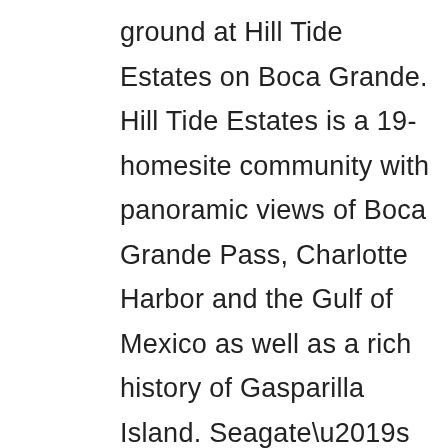ground at Hill Tide Estates on Boca Grande. Hill Tide Estates is a 19-homesite community with panoramic views of Boca Grande Pass, Charlotte Harbor and the Gulf of Mexico as well as a rich history of Gasparilla Island. Seagate’s furnished Bal Harbour model and Seagate’s furnished Beacon model are under construction. Theory Design is also creating the interiors for both these models, with R.G. Designs featuring an architectural design in all three model homes. Two homesites